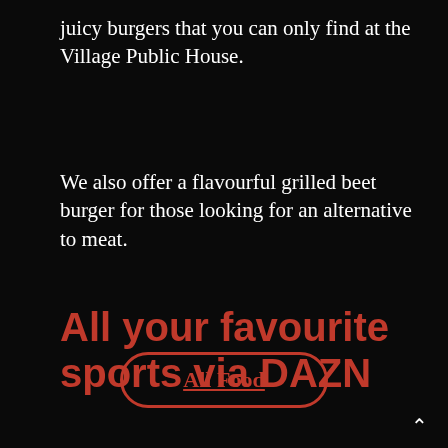juicy burgers that you can only find at the Village Public House.
We also offer a flavourful grilled beet burger for those looking for an alternative to meat.
All Food
All your favourite sports via DAZN